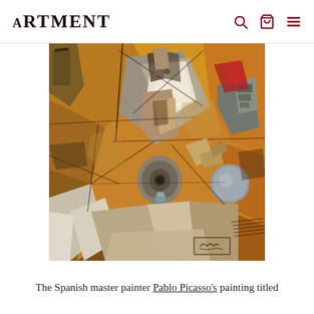ARtMENt [logo] with search, cart, and menu icons
[Figure (illustration): Pablo Picasso Cubist painting showing fragmented figures and objects in warm ochre, brown, grey, and red tones with geometric angular forms, typical of Analytic Cubism style. Appears to be 'The Poet' or similar 1912-era work with signature in lower right corner.]
The Spanish master painter Pablo Picasso's painting titled